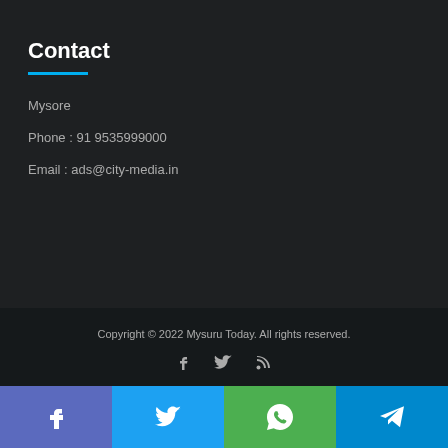Contact
Mysore
Phone : 91 9535999000
Email : ads@city-media.in
Copyright © 2022 Mysuru Today. All rights reserved.